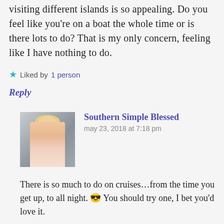I've always wanted to try a cruise! The fact of visiting different islands is so appealing. Do you feel like you're on a boat the whole time or is there lots to do? That is my only concern, feeling like I have nothing to do.
Liked by 1 person
Reply
Southern Simple Blessed
may 23, 2018 at 7:18 pm
There is so much to do on cruises…from the time you get up, to all night. 😎 You should try one, I bet you'd love it.
Like